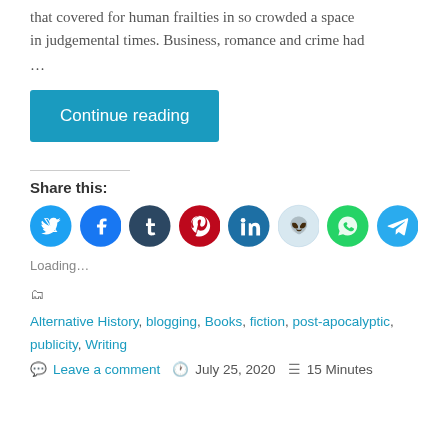that covered for human frailties in so crowded a space in judgemental times. Business, romance and crime had
...
Continue reading
Share this:
[Figure (infographic): Row of 8 social sharing icon buttons: Twitter (blue), Facebook (dark blue), Tumblr (dark navy), Pinterest (red), LinkedIn (dark teal), Reddit (light blue/grey), WhatsApp (green), Telegram (blue)]
Loading...
Alternative History, blogging, Books, fiction, post-apocalyptic, publicity, Writing
Leave a comment   July 25, 2020   15 Minutes